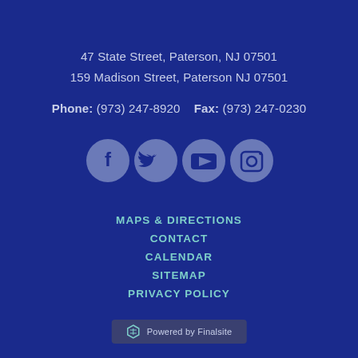47 State Street, Paterson, NJ 07501
159 Madison Street, Paterson NJ 07501
Phone: (973) 247-8920    Fax: (973) 247-0230
[Figure (illustration): Four social media icons in grey circles: Facebook, Twitter, YouTube, Instagram]
MAPS & DIRECTIONS
CONTACT
CALENDAR
SITEMAP
PRIVACY POLICY
Powered by Finalsite